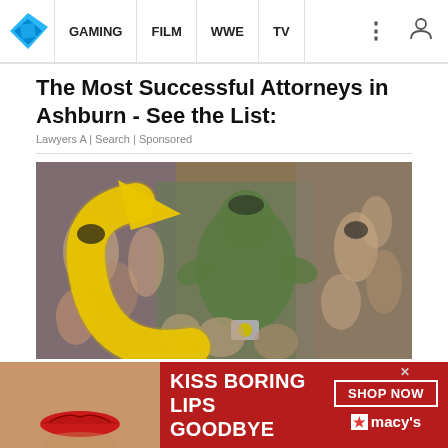GAMING | FILM | WWE | TV
The Most Successful Attorneys in Ashburn - See the List:
Lawyers A | Search | Sponsored
[Figure (illustration): Comic book style illustration showing multiple figures including a large green muscular character surrounded by women in various poses, with a large yellow arrow overlay pointing to one of the figures.]
[Figure (photo): Advertisement banner showing a woman's face with red lips and the text KISS BORING LIPS GOODBYE with a SHOP NOW button and Macy's branding.]